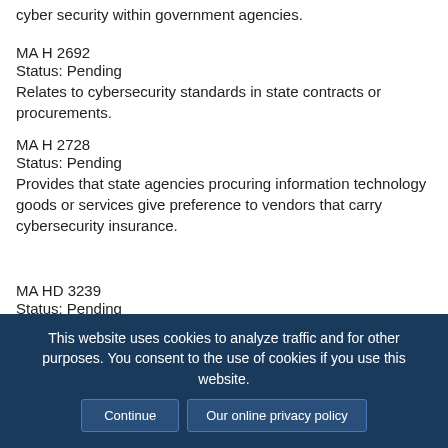cyber security within government agencies.
MA H 2692
Status: Pending
Relates to cybersecurity standards in state contracts or procurements.
MA H 2728
Status: Pending
Provides that state agencies procuring information technology goods or services give preference to vendors that carry cybersecurity insurance.
MA HD 3239
Status: Pending
Updates chapter 93H data security protections to include
This website uses cookies to analyze traffic and for other purposes. You consent to the use of cookies if you use this website.